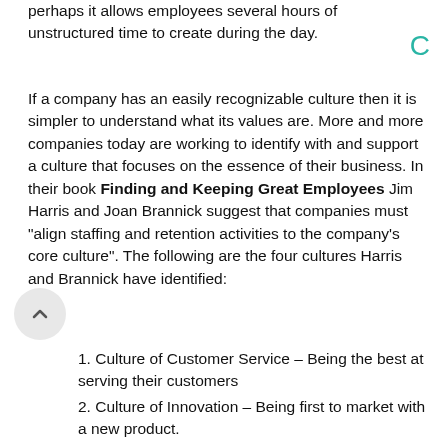perhaps it allows employees several hours of unstructured time to create during the day.
If a company has an easily recognizable culture then it is simpler to understand what its values are. More and more companies today are working to identify with and support a culture that focuses on the essence of their business. In their book Finding and Keeping Great Employees Jim Harris and Joan Brannick suggest that companies must "align staffing and retention activities to the company's core culture". The following are the four cultures Harris and Brannick have identified:
1. Culture of Customer Service – Being the best at serving their customers
2. Culture of Innovation – Being first to market with a new product.